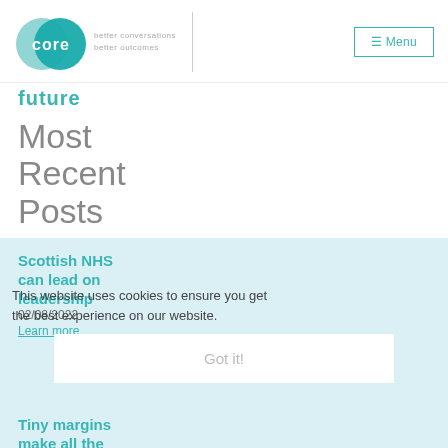[Figure (logo): CORE logo with two overlapping teal circles and text 'better conversations better outcomes']
☰ Menu
future
Most Recent Posts
Scottish NHS can lead on leadership
02/08/2022
Learn more
This website uses cookies to ensure you get the best experience on our website.
Got it!
Tiny margins make all the difference
01/08/2022
Argument,